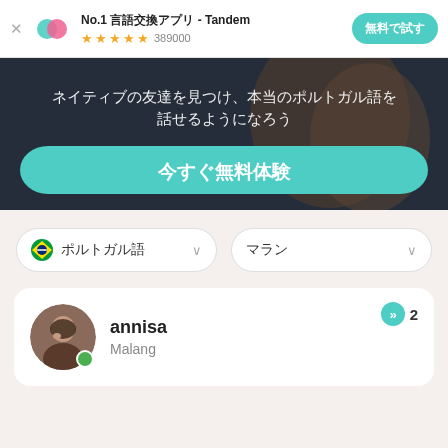[Figure (screenshot): Tandem app advertisement banner with logo, star rating 389000, and 無料で試す button]
[Figure (photo): Hero image with two people outdoors, overlaid with Japanese text about making native friends and speaking Portuguese, and a teal CTA button 今すぐ無料体験]
ネイティブの友達を見つけ、本当のポルトガル語を話せるようになろう
今すぐ無料体験
ポルトガル語
マラン
annisa
Malang
2